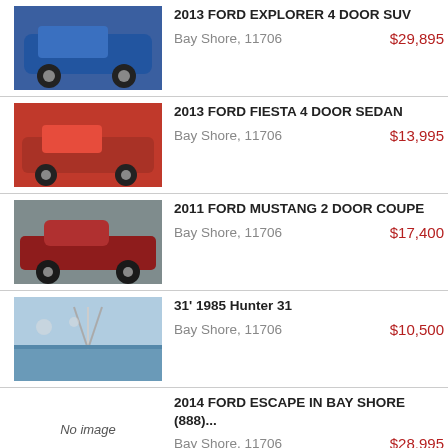2013 FORD EXPLORER 4 DOOR SUV | Bay Shore, 11706 | $29,895
2013 FORD FIESTA 4 DOOR SEDAN | Bay Shore, 11706 | $13,995
2011 FORD MUSTANG 2 DOOR COUPE | Bay Shore, 11706 | $17,400
31' 1985 Hunter 31 | Bay Shore, 11706 | $10,500
2014 FORD ESCAPE IN BAY SHORE (888)... | Bay Shore, 11706 | $28,995
2008 MERCURY GRAND MARQUIS 4 DOOR SEDAN | Bay Shore, 11706 | $12,595
2012 LINCOLN NAVIGATOR 4 DOOR SUV | Bay Shore, 11706 | $38,995
2010 CHEVROLET EQUINOX 4 DOOR SUV | Bay Shore, 11706 | $17,695
2015 NISSAN FRONTIER 4 DOOR CREW...